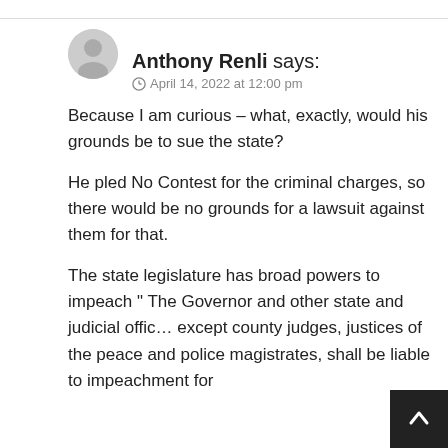Anthony Renli says:
April 14, 2022 at 12:00 pm
Because I am curious – what, exactly, would his grounds be to sue the state?
He pled No Contest for the criminal charges, so there would be no grounds for a lawsuit against them for that.
The state legislature has broad powers to impeach " The Governor and other state and judicial offic… except county judges, justices of the peace and police magistrates, shall be liable to impeachment for